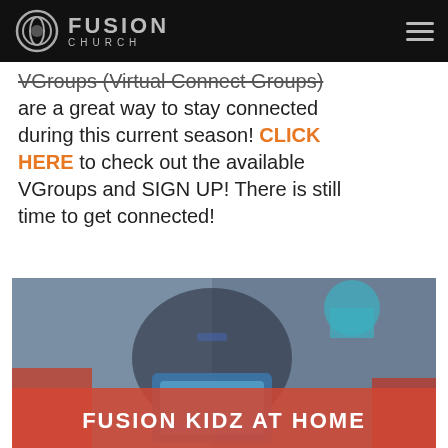Fusion Church — Navigation header with logo and hamburger menu
VGroups (Virtual Connect Groups) are a great way to stay connected during this current season! CLICK HERE to check out the available VGroups and SIGN UP! There is still time to get connected!
[Figure (photo): Fusion Kidz At Home promotional image showing children with text overlay on a red/coral banner]